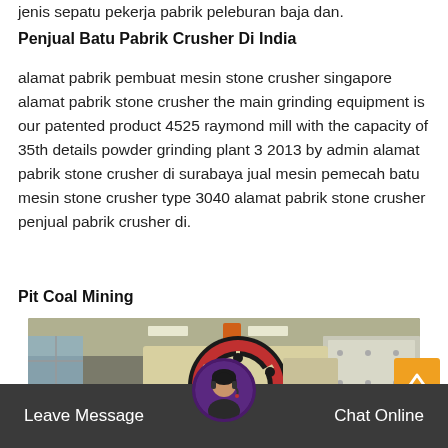jenis sepatu pekerja pabrik peleburan baja dan.
Penjual Batu Pabrik Crusher Di India
alamat pabrik pembuat mesin stone crusher singapore alamat pabrik stone crusher the main grinding equipment is our patented product 4525 raymond mill with the capacity of 35th details powder grinding plant 3 2013 by admin alamat pabrik stone crusher di surabaya jual mesin pemecah batu mesin stone crusher type 3040 alamat pabrik stone crusher penjual pabrik crusher di.
Pit Coal Mining
[Figure (photo): Industrial stone crusher machine with large wheel/flywheel visible, cream/yellow colored equipment in a factory/warehouse setting]
Leave Message   Chat Online